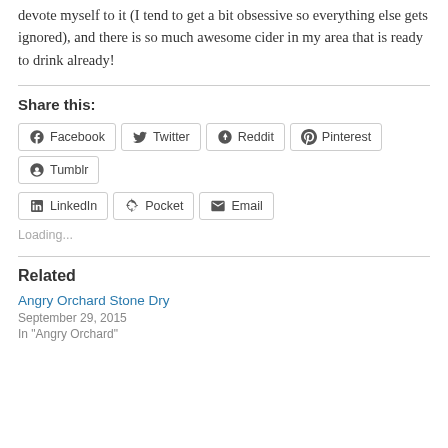devote myself to it (I tend to get a bit obsessive so everything else gets ignored), and there is so much awesome cider in my area that is ready to drink already!
Share this:
Facebook  Twitter  Reddit  Pinterest  Tumblr  LinkedIn  Pocket  Email
Loading...
Related
Angry Orchard Stone Dry
September 29, 2015
In "Angry Orchard"